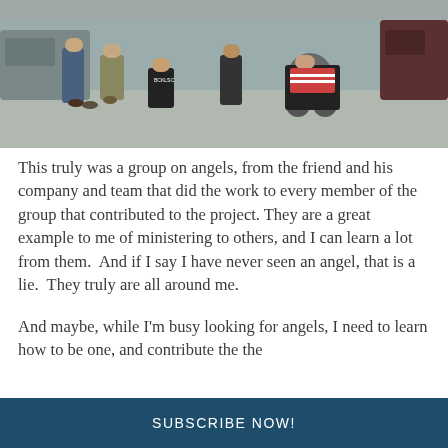[Figure (photo): Group photo of several people outdoors near a vehicle. One person is in a wheelchair wearing a red striped shirt. Another person in a black t-shirt with 'BCKLSC' text is kneeling. Others are standing nearby.]
This truly was a group on angels, from the friend and his company and team that did the work to every member of the group that contributed to the project. They are a great example to me of ministering to others, and I can learn a lot from them.  And if I say I have never seen an angel, that is a lie.  They truly are all around me.
And maybe, while I'm busy looking for angels, I need to learn how to be one, and contribute the the
SUBSCRIBE NOW!